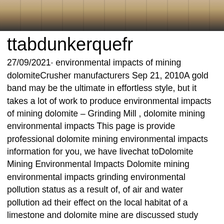[Figure (photo): Aerial view of a mining operation or road construction site, showing sandy/dusty terrain with roads or tracks visible from above.]
ttabdunkerquefr
27/09/2021· environmental impacts of mining dolomiteCrusher manufacturers Sep 21, 2010A gold band may be the ultimate in effortless style, but it takes a lot of work to produce environmental impacts of mining dolomite – Grinding Mill , dolomite mining environmental impacts This page is provide professional dolomite mining environmental impacts information for you, we have livechat toDolomite Mining Environmental Impacts Dolomite mining environmental impacts grinding environmental pollution status as a result of, of air and water pollution ad their effect on the local habitat of a limestone and dolomite mine are discussed study area the small town of biramitrapur is situated in the sundargarh district ofimpacts of dolomite mining dartransturplPortable dolomite impact crusher provider in south africa Products As a leading global manufacturer of crushing, grinding and mining equipments, we offer advanced, reasonable solutions for any sizereduction requirements including,